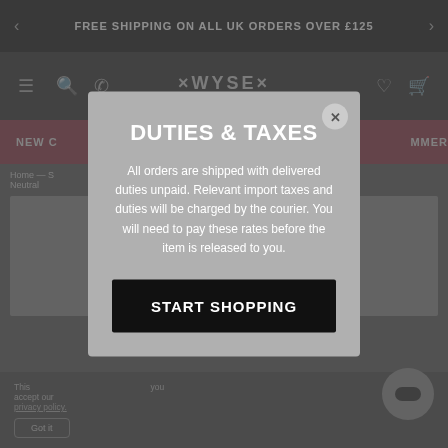FREE SHIPPING ON ALL UK ORDERS OVER £125
[Figure (screenshot): WYSE London website navigation bar with logo, menu icons, search, phone, wishlist and bag icons]
NEW ... MMER
Home — S... t - Multi Neutral
DUTIES & TAXES
All orders are shipped with delivered duties unpaid. Relevant import taxes and duties will be charged by the courier. You will need to pay these rates before the item is released to you.
START SHOPPING
This ... you accept our privacy policy.
Got it